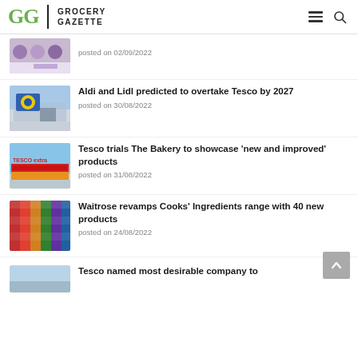Grocery Gazette
posted on 02/09/2022
Aldi and Lidl predicted to overtake Tesco by 2027
posted on 30/08/2022
Tesco trials The Bakery to showcase ‘new and improved’ products
posted on 31/08/2022
Waitrose revamps Cooks’ Ingredients range with 40 new products
posted on 24/08/2022
Tesco named most desirable company to